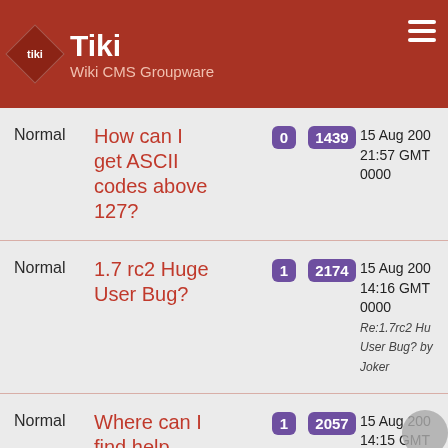Tiki Wiki CMS Groupware
| Type | Title | Replies | Views | Last Post |
| --- | --- | --- | --- | --- |
| Normal | How can I get ASCII codes above 127? | 0 | 1439 | 15 Aug 200 21:57 GMT 0000 |
| Normal | 1.7 rc2 Huge User Bug? | 1 | 2174 | 15 Aug 200 14:16 GMT 0000
Re:1.7rc2 Huge User Bug? by Joker |
| Normal | Where can I find help | 1 | 2057 | 15 Aug 200 14:15 GMT 0000
Re:Where can... |